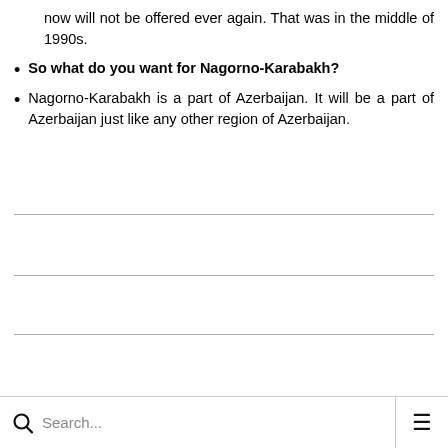now will not be offered ever again. That was in the middle of 1990s.
So what do you want for Nagorno-Karabakh?
Nagorno-Karabakh is a part of Azerbaijan. It will be a part of Azerbaijan just like any other region of Azerbaijan.
Search...